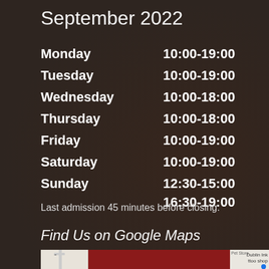September 2022
| Day | Hours |
| --- | --- |
| Monday | 10:00-19:00 |
| Tuesday | 10:00-19:00 |
| Wednesday | 10:00-18:00 |
| Thursday | 10:00-18:00 |
| Friday | 10:00-19:00 |
| Saturday | 10:00-19:00 |
| Sunday | 12:30-15:00
16:30-19:00 |
Last admission 45 minutes before closing.
Find Us on Google Maps
[Figure (map): Google Maps embed showing location near Cook St, with a red 'Plan Your Visit' button with an upward arrow, and Dublin Ink tattoo shop label visible on the right side.]